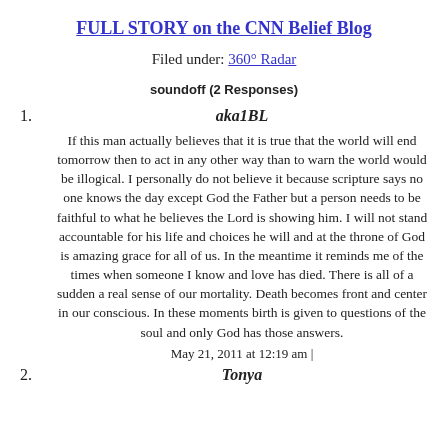FULL STORY on the CNN Belief Blog
Filed under: 360° Radar
soundoff (2 Responses)
1. aka1BL
If this man actually believes that it is true that the world will end tomorrow then to act in any other way than to warn the world would be illogical. I personally do not believe it because scripture says no one knows the day except God the Father but a person needs to be faithful to what he believes the Lord is showing him. I will not stand accountable for his life and choices he will and at the throne of God is amazing grace for all of us. In the meantime it reminds me of the times when someone I know and love has died. There is all of a sudden a real sense of our mortality. Death becomes front and center in our conscious. In these moments birth is given to questions of the soul and only God has those answers.
May 21, 2011 at 12:19 am |
2. Tonya